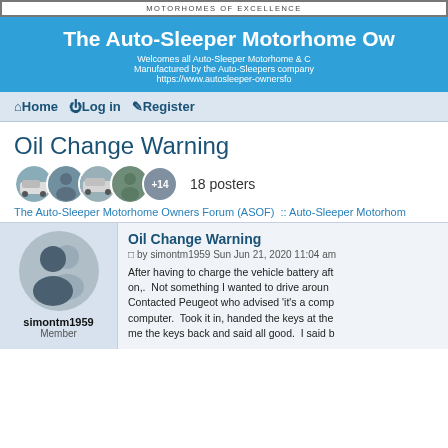MOTORHOMES OF EXCELLENCE
The Auto-Sleeper Motorhome Owners Forum
Welcomes all Auto-Sleeper Motorhome & C Manufactured by the Auto-Sleepers company https://www.autosleeper-ownersfo
Home  Log in  Register
Oil Change Warning
18 posters
The Auto-Sleeper Motorhome Owners Forum (ASOF)  :: Auto-Sleeper Motorhome
simontm1959
Member
Oil Change Warning
by simontm1959 Sun Jun 21, 2020 11:04 am

After having to charge the vehicle battery after on,. Not something I wanted to drive around Contacted Peugeot who advised 'it's a comp computer. Took it in, handed the keys at the me the keys back and said all good. I said b